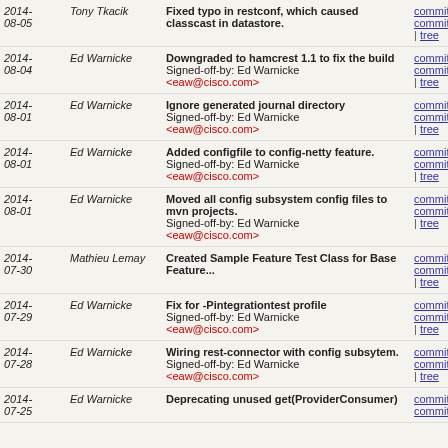| Date | Author | Message | Links |
| --- | --- | --- | --- |
| 2014-08-05 | Tony Tkacik | Fixed typo in restconf, which caused classcast in datastore. | commit | commitdiff | tree |
| 2014-08-04 | Ed Warnicke | Downgraded to hamcrest 1.1 to fix the build
Signed-off-by: Ed Warnicke <eaw@cisco.com> | commit | commitdiff | tree |
| 2014-08-01 | Ed Warnicke | Ignore generated journal directory
Signed-off-by: Ed Warnicke <eaw@cisco.com> | commit | commitdiff | tree |
| 2014-08-01 | Ed Warnicke | Added configfile to config-netty feature.
Signed-off-by: Ed Warnicke <eaw@cisco.com> | commit | commitdiff | tree |
| 2014-08-01 | Ed Warnicke | Moved all config subsystem config files to mvn projects.
Signed-off-by: Ed Warnicke <eaw@cisco.com> | commit | commitdiff | tree |
| 2014-07-30 | Mathieu Lemay | Created Sample Feature Test Class for Base Feature... | commit | commitdiff | tree |
| 2014-07-29 | Ed Warnicke | Fix for -Pintegrationtest profile
Signed-off-by: Ed Warnicke <eaw@cisco.com> | commit | commitdiff | tree |
| 2014-07-28 | Ed Warnicke | Wiring rest-connector with config subsytem.
Signed-off-by: Ed Warnicke <eaw@cisco.com> | commit | commitdiff | tree |
| 2014-07-25 | Ed Warnicke | Deprecating unused get(ProviderConsumer)... | commit | commitdiff |